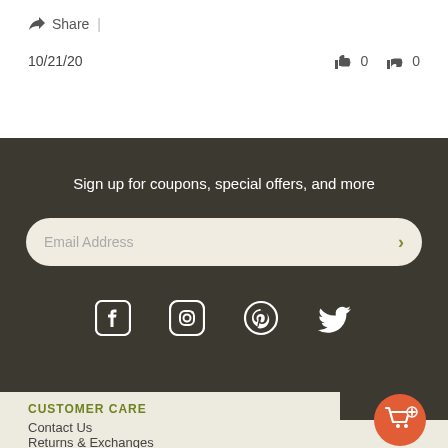Share |
10/21/20  👍 0  👎 0
Sign up for coupons, special offers, and more
Email Address
[Figure (infographic): Social media icons: Facebook, Instagram, Pinterest, Twitter]
CUSTOMER CARE
Contact Us
Returns & Exchanges
[Figure (illustration): Orange circular add-to-cart button icon]